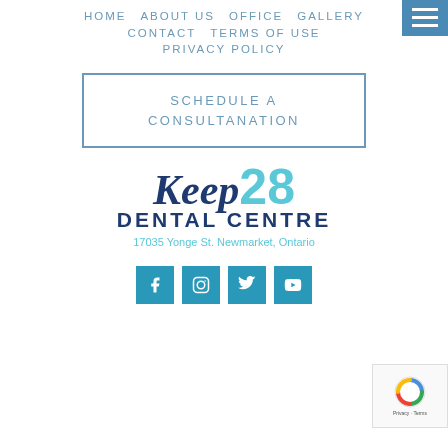HOME   ABOUT US   OFFICE   GALLERY
CONTACT   TERMS OF USE   PRIVACY POLICY
[Figure (screenshot): Hamburger menu button (three horizontal lines on blue background)]
SCHEDULE A CONSULTANATION
[Figure (logo): Keep28 Dental Centre logo with address 17035 Yonge St. Newmarket, Ontario]
[Figure (infographic): Social media icons: Facebook, Instagram, Twitter, YouTube]
[Figure (screenshot): reCAPTCHA badge (Privacy - Terms)]